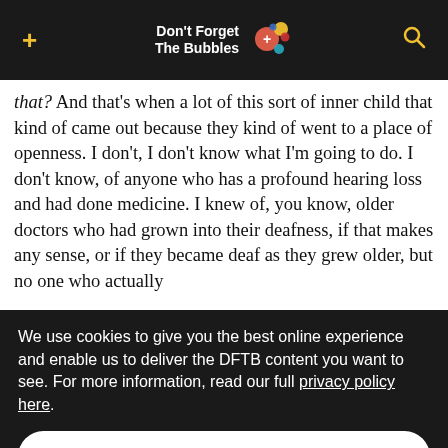Don't Forget The Bubbles
that?' And that's when a lot of this sort of inner child that kind of came out because they kind of went to a place of openness. I don't, I don't know what I'm going to do. I don't know, of anyone who has a profound hearing loss and had done medicine. I knew of, you know, older doctors who had grown into their deafness, if that makes any sense, or if they became deaf as they grew older, but no one who actually
We use cookies to give you the best online experience and enable us to deliver the DFTB content you want to see. For more information, read our full privacy policy here.
Accept All
Dismiss